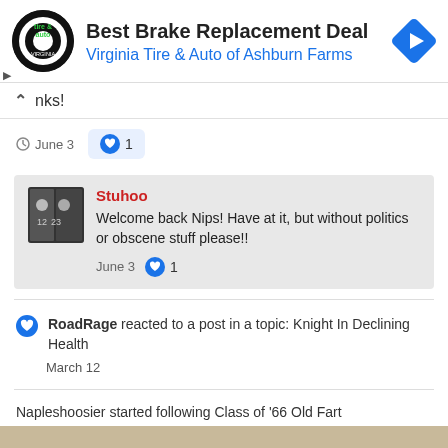[Figure (screenshot): Advertisement banner for Virginia Tire & Auto of Ashburn Farms showing a circular logo with tire & auto imagery, heading 'Best Brake Replacement Deal', subheading 'Virginia Tire & Auto of Ashburn Farms', and a blue diamond navigation icon. Ad controls with play and X icons on left side.]
nks!
June 3   1
Stuhoo
Welcome back Nips! Have at it, but without politics or obscene stuff please!!
June 3   1
RoadRage reacted to a post in a topic: Knight In Declining Health
March 12
Napleshoosier started following Class of '66 Old Fart